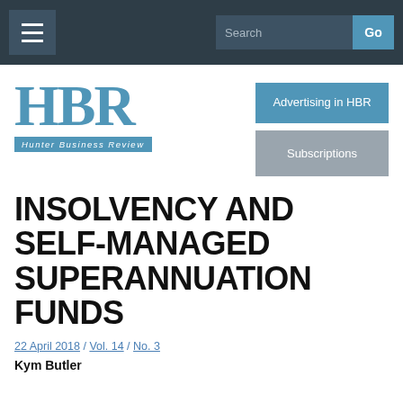Hunter Business Review — navigation bar with hamburger menu and search
[Figure (logo): HBR Hunter Business Review logo in blue serif letters with blue banner subtitle]
Advertising in HBR
Subscriptions
INSOLVENCY AND SELF-MANAGED SUPERANNUATION FUNDS
22 April 2018 / Vol. 14 / No. 3
Kym Butler